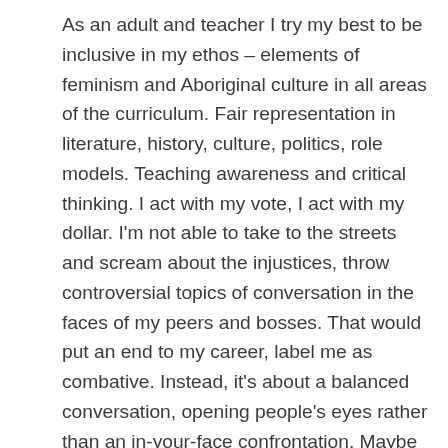As an adult and teacher I try my best to be inclusive in my ethos – elements of feminism and Aboriginal culture in all areas of the curriculum. Fair representation in literature, history, culture, politics, role models. Teaching awareness and critical thinking. I act with my vote, I act with my dollar. I'm not able to take to the streets and scream about the injustices, throw controversial topics of conversation in the faces of my peers and bosses. That would put an end to my career, label me as combative. Instead, it's about a balanced conversation, opening people's eyes rather than an in-your-face confrontation. Maybe it's a part of my upbringing. Learning to manoeuvre in the background. Instigate change in increments. There is also an element of not throwing stones at glass houses – an all-out assault calls for retaliation. I see it in our politics, in cancel culture… slow and steady stand of principles wins the race. We're seeing many of those role models of my childhood being replaced